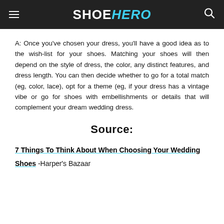SHOEHERO
A: Once you've chosen your dress, you'll have a good idea as to the wish-list for your shoes. Matching your shoes will then depend on the style of dress, the color, any distinct features, and dress length. You can then decide whether to go for a total match (eg, color, lace), opt for a theme (eg, if your dress has a vintage vibe or go for shoes with embellishments or details that will complement your dream wedding dress.
Source:
7 Things To Think About When Choosing Your Wedding Shoes -Harper's Bazaar